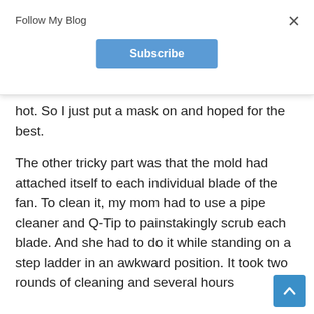Follow My Blog
Subscribe
hot. So I just put a mask on and hoped for the best.
The other tricky part was that the mold had attached itself to each individual blade of the fan. To clean it, my mom had to use a pipe cleaner and Q-Tip to painstakingly scrub each blade. And she had to do it while standing on a step ladder in an awkward position. It took two rounds of cleaning and several hours